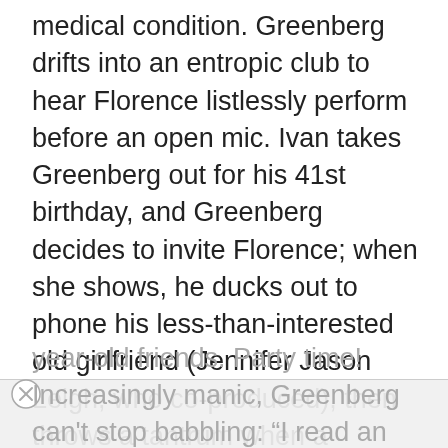medical condition. Greenberg drifts into an entropic club to hear Florence listlessly perform before an open mic. Ivan takes Greenberg out for his 41st birthday, and Greenberg decides to invite Florence; when she shows, he ducks out to phone his less-than-interested old girlfriend (Jennifer Jason Leigh, who co-produced), then throws a tantrum when a birthday cake arrives. Neither inappropriate behavior nor awkward sex dissuades Flo; Greenberg has to be unspeakably mean before she finally gets it.

Greenberg returns to his temporary digs to find the house taken over by his niece and her 20-
year-old friends. Party time! Increasingly manic, Greenberg can't stop babbling: “I read an article